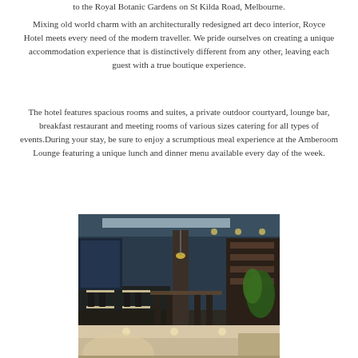to the Royal Botanic Gardens on St Kilda Road, Melbourne.
Mixing old world charm with an architecturally redesigned art deco interior, Royce Hotel meets every need of the modern traveller. We pride ourselves on creating a unique accommodation experience that is distinctively different from any other, leaving each guest with a true boutique experience.
The hotel features spacious rooms and suites, a private outdoor courtyard, lounge bar, breakfast restaurant and meeting rooms of various sizes catering for all types of events.During your stay, be sure to enjoy a scrumptious meal experience at the Amberoom Lounge featuring a unique lunch and dinner menu available every day of the week.
[Figure (photo): Interior photo of the Amberoom Lounge/restaurant at Royce Hotel showing dining tables, bar seating, a central pillar, pendant lighting, and shelving with bottles on the right.]
[Figure (photo): Partial interior photo of hotel lobby or corridor area showing warm lighting and curved architectural details.]